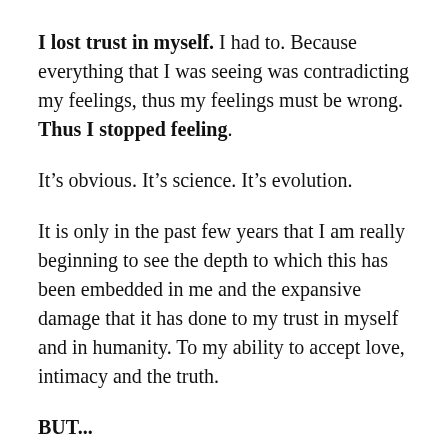I lost trust in myself. I had to. Because everything that I was seeing was contradicting my feelings, thus my feelings must be wrong. Thus I stopped feeling.
It’s obvious. It’s science. It’s evolution.
It is only in the past few years that I am really beginning to see the depth to which this has been embedded in me and the expansive damage that it has done to my trust in myself and in humanity. To my ability to accept love, intimacy and the truth.
BUT...
I do know love and intimacy. And I do know the truth. I always have.
H... it... until I... U i... d